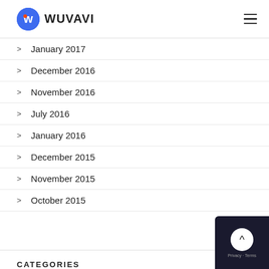WUVAVI
January 2017
December 2016
November 2016
July 2016
January 2016
December 2015
November 2015
October 2015
CATEGORIES